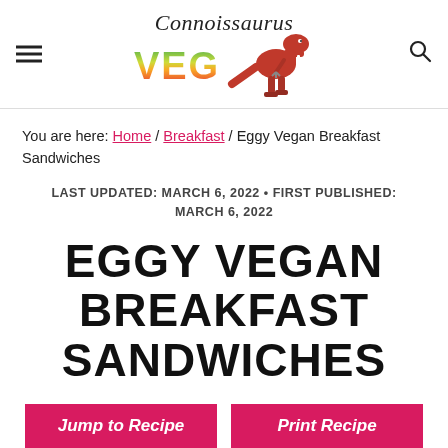Connoissaurus VEG (logo with dinosaur)
You are here: Home / Breakfast / Eggy Vegan Breakfast Sandwiches
LAST UPDATED: MARCH 6, 2022 • FIRST PUBLISHED: MARCH 6, 2022
EGGY VEGAN BREAKFAST SANDWICHES
Jump to Recipe   Print Recipe
These vegan breakfast sandwiches are